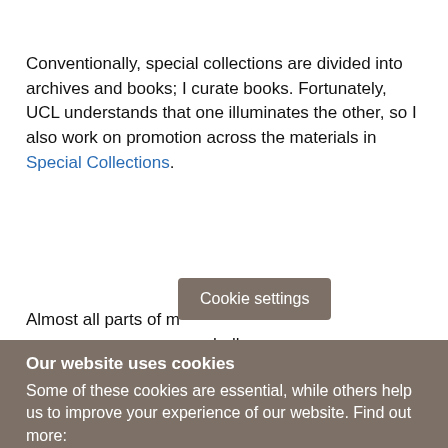Conventionally, special collections are divided into archives and books; I curate books. Fortunately, UCL understands that one illuminates the other, so I also work on promotion across the materials in Special Collections.
Almost all parts of m[y work face the] same challenge:
Cookie settings
Our website uses cookies
Some of these cookies are essential, while others help us to improve your experience of our website. Find out more: Privacy Policy (opens in new window)
Accept all cookies
Manage cookies